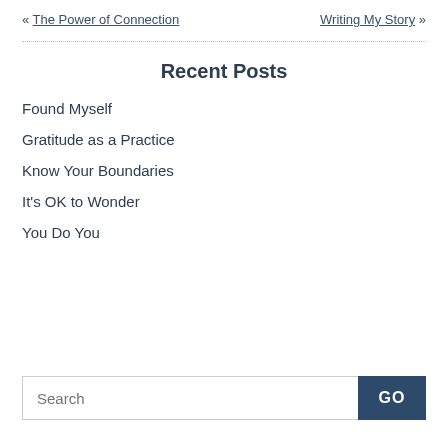« The Power of Connection    Writing My Story »
Recent Posts
Found Myself
Gratitude as a Practice
Know Your Boundaries
It's OK to Wonder
You Do You
Search  GO